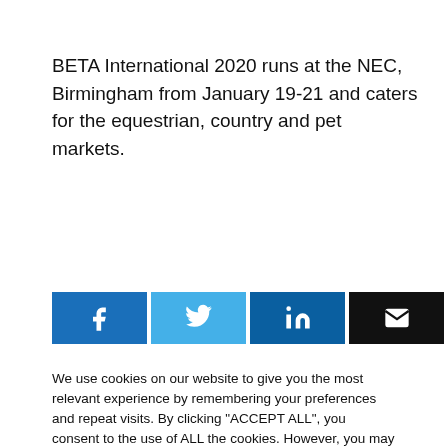BETA International 2020 runs at the NEC, Birmingham from January 19-21 and caters for the equestrian, country and pet markets.
[Figure (other): Social sharing buttons: Facebook (blue), Twitter (light blue), LinkedIn (dark blue), Email (black)]
We use cookies on our website to give you the most relevant experience by remembering your preferences and repeat visits. By clicking "ACCEPT ALL", you consent to the use of ALL the cookies. However, you may visit "Cookie Settings" to provide a controlled consent.
Cookie Settings   REJECT ALL   Accept All